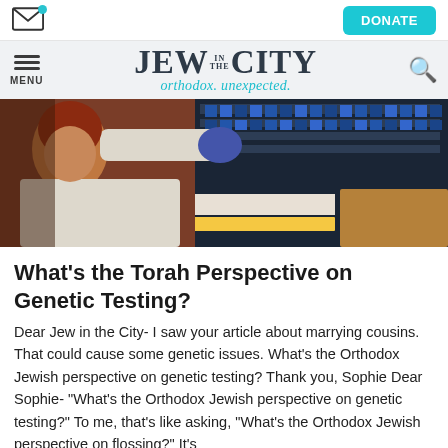[Figure (logo): Envelope icon with teal notification dot in top left, and DONATE teal button in top right]
[Figure (logo): Jew in the City logo with hamburger menu, city silhouette, and search icon. Tagline: orthodox. unexpected.]
[Figure (photo): A scientist in a white lab coat with blue gloves working in a laboratory, reaching up to shelves of equipment and samples.]
What's the Torah Perspective on Genetic Testing?
Dear Jew in the City- I saw your article about marrying cousins. That could cause some genetic issues. What's the Orthodox Jewish perspective on genetic testing? Thank you, Sophie Dear Sophie- "What's the Orthodox Jewish perspective on genetic testing?" To me, that's like asking, "What's the Orthodox Jewish perspective on flossing?" It's